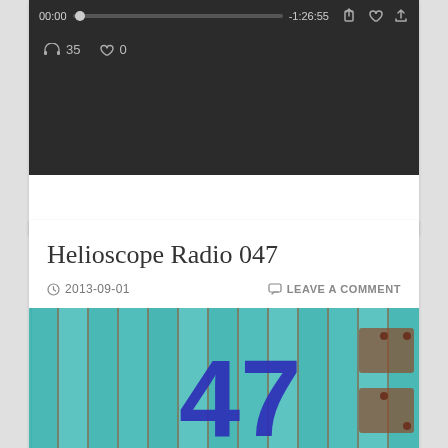[Figure (screenshot): Audio player widget showing 00:00 timestamp, progress bar, -1:26:55 remaining time, share/heart/upload icons, headphone count 35, heart count 0, on dark background]
Helioscope Radio 047
2013-09-01    LEAVE A COMMENT
[Figure (photo): Teal painted wooden fence planks with large blue number 47 and rusty metal hardware visible]